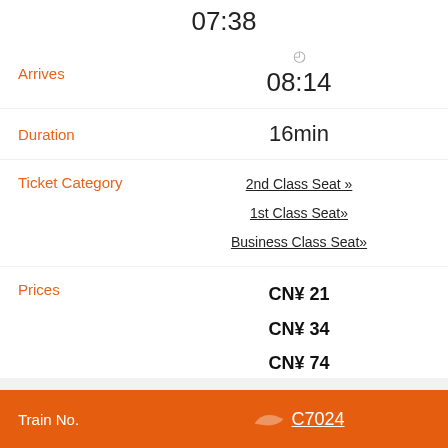07:38
Arrives
08:14
Duration
16min
Ticket Category
2nd Class Seat » / 1st Class Seat» / Business Class Seat»
Prices
CN¥ 21 / CN¥ 34 / CN¥ 74
Tickets Available
21 / 5 / 3
Train No.
C7024